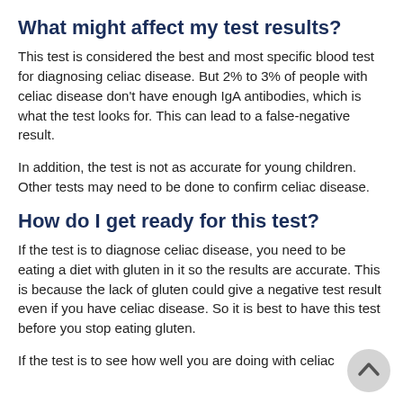What might affect my test results?
This test is considered the best and most specific blood test for diagnosing celiac disease. But 2% to 3% of people with celiac disease don't have enough IgA antibodies, which is what the test looks for. This can lead to a false-negative result.
In addition, the test is not as accurate for young children. Other tests may need to be done to confirm celiac disease.
How do I get ready for this test?
If the test is to diagnose celiac disease, you need to be eating a diet with gluten in it so the results are accurate. This is because the lack of gluten could give a negative test result even if you have celiac disease. So it is best to have this test before you stop eating gluten.
If the test is to see how well you are doing with celiac